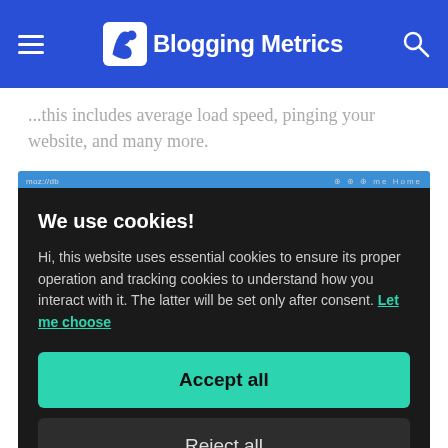Blogging Metrics
...this includes average load speed, pinging your website, and many more.
We use cookies!
Hi, this website uses essential cookies to ensure its proper operation and tracking cookies to understand how you interact with it. The latter will be set only after consent. Let me choose
Accept all
Reject all